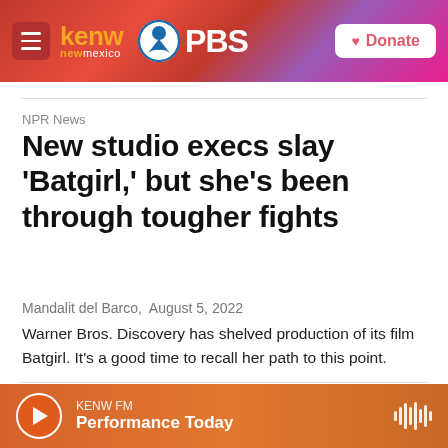KENW New Mexico PBS — Donate
NPR News
New studio execs slay 'Batgirl,' but she's been through tougher fights
Mandalit del Barco, August 5, 2022
Warner Bros. Discovery has shelved production of its film Batgirl. It's a good time to recall her path to this point.
KENW FM — Performance Today